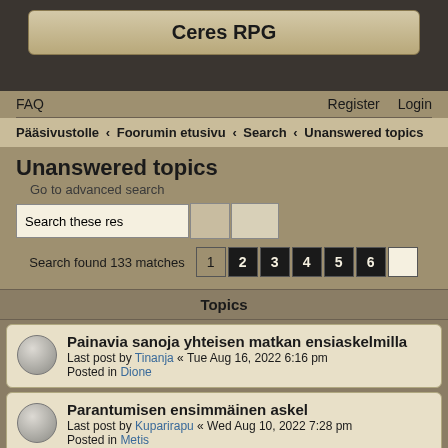Ceres RPG
FAQ  Register  Login
Pääsivustolle › Foorumin etusivu › Search › Unanswered topics
Unanswered topics
Go to advanced search
Search these res
Search found 133 matches  1  2  3  4  5  6  ...
| Topics |
| --- |
| Painavia sanoja yhteisen matkan ensiaskelmilla
Last post by Tinanja « Tue Aug 16, 2022 6:16 pm
Posted in Dione |
| Parantumisen ensimmäinen askel
Last post by Kuparirapu « Wed Aug 10, 2022 7:28 pm
Posted in Metis |
| Servethor, kristallisilmä, puolinäähahmо |